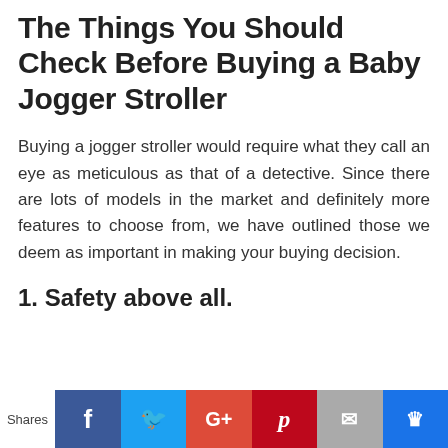The Things You Should Check Before Buying a Baby Jogger Stroller
Buying a jogger stroller would require what they call an eye as meticulous as that of a detective. Since there are lots of models in the market and definitely more features to choose from, we have outlined those we deem as important in making your buying decision.
1. Safety above all.